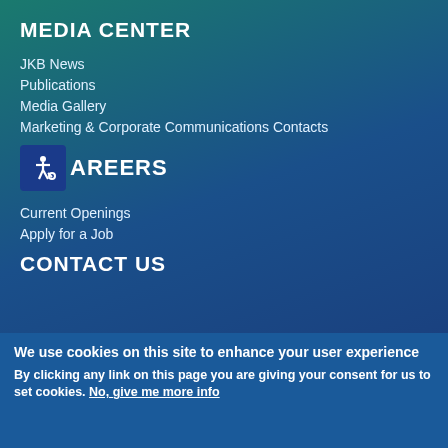MEDIA CENTER
JKB News
Publications
Media Gallery
Marketing & Corporate Communications Contacts
CAREERS
Current Openings
Apply for a Job
CONTACT US
We use cookies on this site to enhance your user experience
By clicking any link on this page you are giving your consent for us to set cookies. No, give me more info